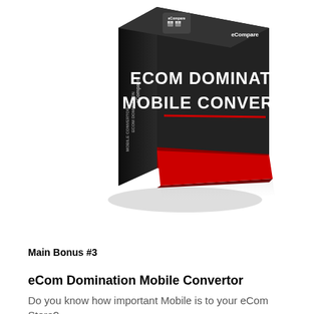[Figure (illustration): 3D product box for 'eCom Domination Mobile Convertor' by eCompare. The box is dark/black with red accent at the bottom and white bold text reading 'ECOM DOMINATION MOBILE CONVERTOR' on the front face. The eCompare logo is in the top-left corner of the box. The box casts a reflection beneath it.]
Main Bonus #3
eCom Domination Mobile Convertor
Do you know how important Mobile is to your eCom Store?